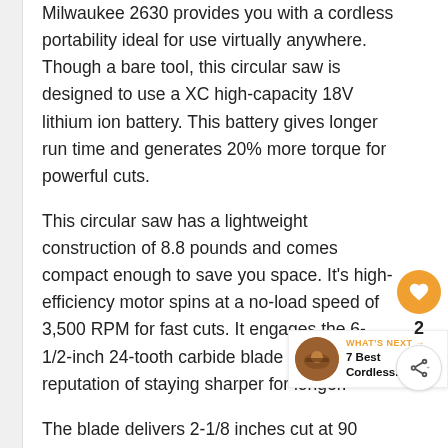Milwaukee 2630 provides you with a cordless portability ideal for use virtually anywhere. Though a bare tool, this circular saw is designed to use a XC high-capacity 18V lithium ion battery. This battery gives longer run time and generates 20% more torque for powerful cuts.
This circular saw has a lightweight construction of 8.8 pounds and comes compact enough to save you space. It’s high-efficiency motor spins at a no-load speed of 3,500 RPM for fast cuts. It engages the 6-1/2-inch 24-tooth carbide blade that’s got a reputation of staying sharper for longer.
The blade delivers 2-1/8 inches cut at 90 degrees and 1-9/16 inches cut at 45
[Figure (other): Orange circular heart/like button with heart icon, count of 2, and share button (circular with share icon)]
[Figure (other): What's Next widget showing a circular thumbnail image of a circular saw, orange WHAT'S NEXT label with arrow, and text '7 Best Cordless...']